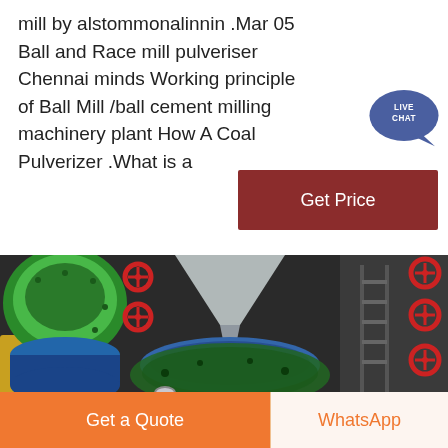mill by alstommonalinnin .Mar 05 Ball and Race mill pulveriser Chennai minds Working principle of Ball Mill /ball cement milling machinery plant How A Coal Pulverizer .What is a
[Figure (illustration): Live Chat speech bubble icon in dark blue/purple with 'LIVE CHAT' text in white]
[Figure (other): Get Price button — dark red/maroon rectangular button with white text 'Get Price']
[Figure (engineering-diagram): 3D rendered cross-section of an industrial ball and race mill / coal pulverizer showing internal components: green circular top cover, gray conical funnel/feed inlet, blue curved wear parts, yellow structural housing, dark gray body with red valve handles/handwheels, lifting hooks/shackles, and internal grinding mechanism. Colorful cutaway engineering visualization.]
[Figure (other): Orange 'Get a Quote' button on the left and 'WhatsApp' text in orange on cream/white background on the right at the bottom of the page]